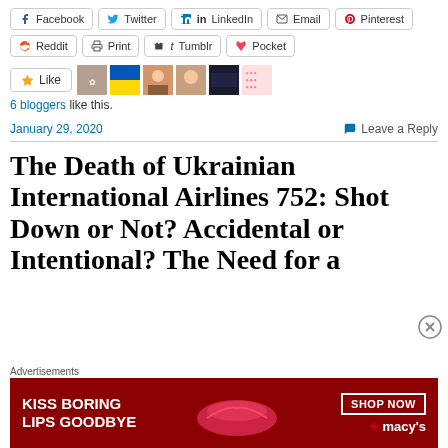Facebook
Twitter
LinkedIn
Email
Pinterest
Reddit
Print
Tumblr
Pocket
6 bloggers like this.
January 29, 2020
Leave a Reply
The Death of Ukrainian International Airlines 752: Shot Down or Not? Accidental or Intentional? The Need for a
[Figure (infographic): Advertisement banner: KISS BORING LIPS GOODBYE with SHOP NOW button and Macy's logo on dark red background]